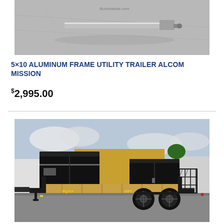[Figure (photo): Top partial photo of an aluminum frame utility trailer on a concrete surface, showing hitch/coupler end from above.]
5×10 ALUMINUM FRAME UTILITY TRAILER ALCOM MISSION
$2,995.00
[Figure (photo): Photo of a Big Tex 60PI tandem-axle utility trailer with wood deck floor and mesh gate, parked in a lot with black enclosed trailers in the background.]